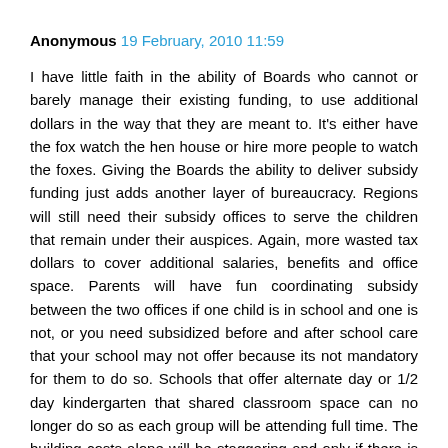Anonymous 19 February, 2010 11:59
I have little faith in the ability of Boards who cannot or barely manage their existing funding, to use additional dollars in the way that they are meant to. It's either have the fox watch the hen house or hire more people to watch the foxes. Giving the Boards the ability to deliver subsidy funding just adds another layer of bureaucracy. Regions will still need their subsidy offices to serve the children that remain under their auspices. Again, more wasted tax dollars to cover additional salaries, benefits and office space. Parents will have fun coordinating subsidy between the two offices if one child is in school and one is not, or you need subsidized before and after school care that your school may not offer because its not mandatory for them to do so. Schools that offer alternate day or 1/2 day kindergarten that shared classroom space can no longer do so as each group will be attending full time. The building costs alone will be staggering and only if there is space available. The schools are lucky they are not being held to the same standards for facilities that day care operators are